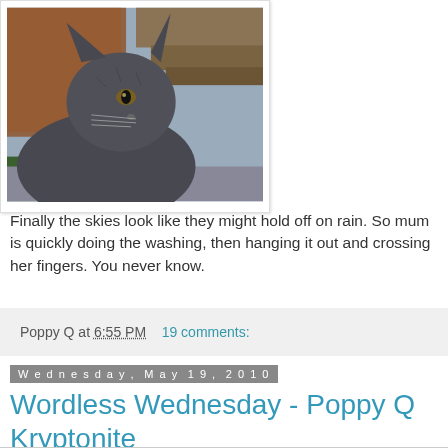[Figure (photo): A grey cat looking upward, photographed outdoors near wooden structures and a brick wall in the background.]
Finally the skies look like they might hold off on rain. So mum is quickly doing the washing, then hanging it out and crossing her fingers. You never know.
Poppy Q at 6:55 PM   19 comments:
Wednesday, May 19, 2010
Wordless Wednesday - Poppy Q Kryptonite